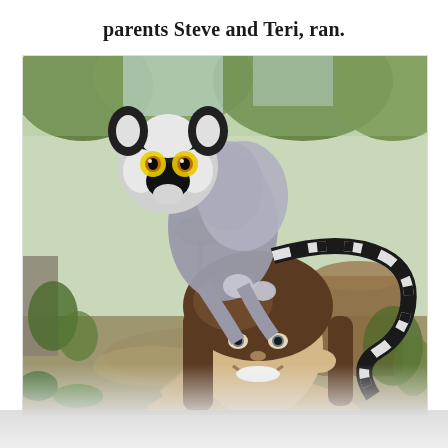parents Steve and Teri, ran.
[Figure (photo): A smiling young woman with a ring-tailed lemur sitting on top of her head. The lemur's distinctive black-and-white striped tail hangs to the right. The background shows a lush green zoo or wildlife park setting with trees and plants. The photo is taken outdoors in bright light.]